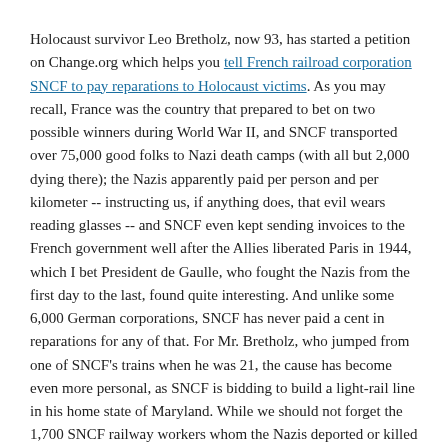Holocaust survivor Leo Bretholz, now 93, has started a petition on Change.org which helps you tell French railroad corporation SNCF to pay reparations to Holocaust victims. As you may recall, France was the country that prepared to bet on two possible winners during World War II, and SNCF transported over 75,000 good folks to Nazi death camps (with all but 2,000 dying there); the Nazis apparently paid per person and per kilometer -- instructing us, if anything does, that evil wears reading glasses -- and SNCF even kept sending invoices to the French government well after the Allies liberated Paris in 1944, which I bet President de Gaulle, who fought the Nazis from the first day to the last, found quite interesting. And unlike some 6,000 German corporations, SNCF has never paid a cent in reparations for any of that. For Mr. Bretholz, who jumped from one of SNCF's trains when he was 21, the cause has become even more personal, as SNCF is bidding to build a light-rail line in his home state of Maryland. While we should not forget the 1,700 SNCF railway workers whom the Nazis deported or killed because they fought occupation, we also should not let SNCF forget the time when their business was extermination.
Meanwhile, Capitol One recently changed the terms of its standard contract with its credit card customers; the contract stated that they could contact customers in "any manner we choose," and "any manner" explicitly includes the possibility of showing up at your house. Remember in Kafka's Metamorphosis, when Gregor Samsa's office manager actually showed up at his house to harangue him about not coming to work? Hopefully, you won't have